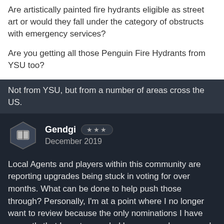Are artistically painted fire hydrants eligible as street art or would they fall under the category of obstructs with emergency services?

Are you getting all those Penguin Fire Hydrants from YSU too?
Not from YSU, but from a number of areas cross the US.
Gendgi  ★★★
December 2019
Local Agents and players within this community are reporting upgrades being stuck in voting for over months. What can be done to help push those through? Personally, I'm at a point where I no longer want to review because the only nominations I have currently that I want upgraded have upgrades, several with upgrades for over a month. Meanwhile, a new nomination made and upgraded typically takes only days.
Somebody else may be able to better phrase that than me.